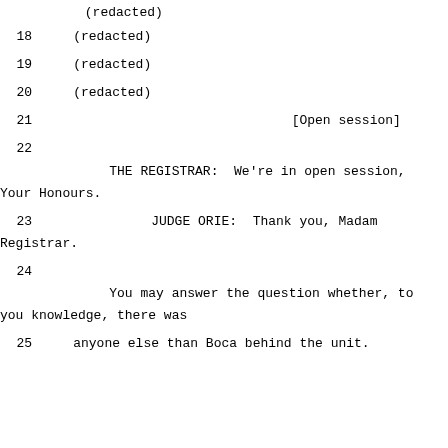(redacted)
18    (redacted)
19    (redacted)
20    (redacted)
21                                [Open session]
22              THE REGISTRAR:  We're in open session, Your Honours.
23              JUDGE ORIE:  Thank you, Madam Registrar.
24              You may answer the question whether, to you knowledge, there was
25    anyone else than Boca behind the unit.